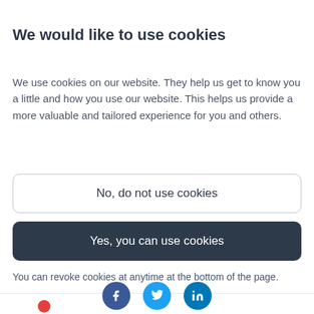We would like to use cookies
We use cookies on our website. They help us get to know you a little and how you use our website. This helps us provide a more valuable and tailored experience for you and others.
No, do not use cookies
Yes, you can use cookies
You can revoke cookies at anytime at the bottom of the page.
[Figure (illustration): Red circle/dot icon partially visible at bottom left]
[Figure (illustration): Three social media icons: Facebook (dark blue), Twitter (light blue), LinkedIn (blue)]